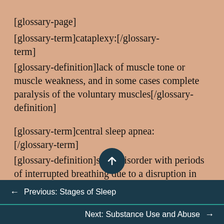[glossary-page]
[glossary-term]cataplexy:[/glossary-term]
[glossary-definition]lack of muscle tone or muscle weakness, and in some cases complete paralysis of the voluntary muscles[/glossary-definition]
[glossary-term]central sleep apnea:[/glossary-term]
[glossary-definition]sleep disorder with periods of interrupted breathing due to a disruption in signals sent from the
← Previous: Stages of Sleep
Next: Substance Use and Abuse →